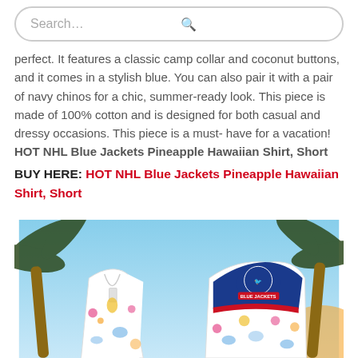[Figure (screenshot): Search bar with placeholder text 'Search...' and a magnifier icon on the right]
perfect. It features a classic camp collar and coconut buttons, and it comes in a stylish blue. You can also pair it with a pair of navy chinos for a chic, summer-ready look. This piece is made of 100% cotton and is designed for both casual and dressy occasions. This piece is a must-have for a vacation! HOT NHL Blue Jackets Pineapple Hawaiian Shirt, Short
BUY HERE: HOT NHL Blue Jackets Pineapple Hawaiian Shirt, Short
[Figure (photo): Photo of NHL Blue Jackets Pineapple Hawaiian shirts displayed on mannequins against a tropical beach background with palm trees. One shirt shows the front with tropical floral and pineapple pattern, the other shows the back with Blue Jackets logo on a blue yoke.]